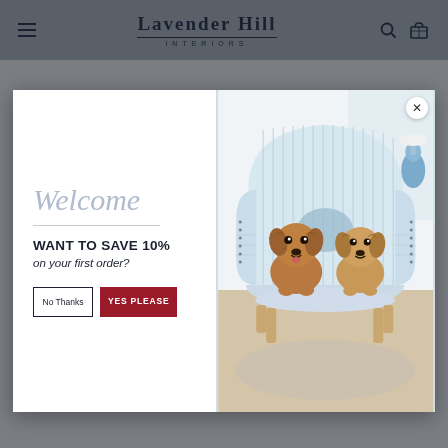Lavender Hill INTERIORS
[Figure (screenshot): Website popup modal with 'Welcome' heading, 'WANT TO SAVE 10% on your first order?' offer, two buttons (No Thanks, YES PLEASE), and a photo of two dogs sitting on a striped armchair]
Welcome
WANT TO SAVE 10%
on your first order?
No Thanks
YES PLEASE